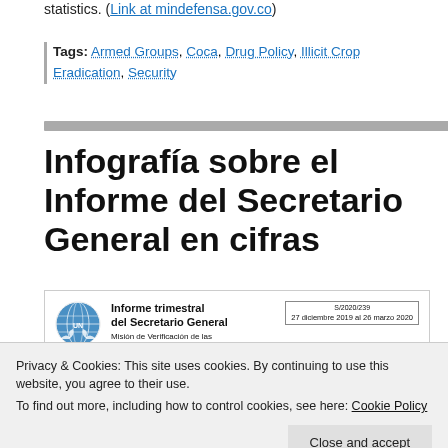statistics. (Link at mindefensa.gov.co)
Tags: Armed Groups, Coca, Drug Policy, Illicit Crop Eradication, Security
Infografía sobre el Informe del Secretario General en cifras
[Figure (infographic): UN document header: Informe trimestral del Secretario General, Misión de Verificación de las Naciones Unidas en Colombia, reference S/2020/239, dates 27 diciembre 2019 al 26 marzo 2020]
Privacy & Cookies: This site uses cookies. By continuing to use this website, you agree to their use. To find out more, including how to control cookies, see here: Cookie Policy
Close and accept